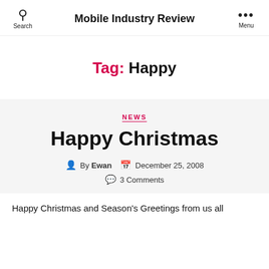Search  Mobile Industry Review  Menu
Tag: Happy
NEWS
Happy Christmas
By Ewan  December 25, 2008  3 Comments
Happy Christmas and Season's Greetings from us all